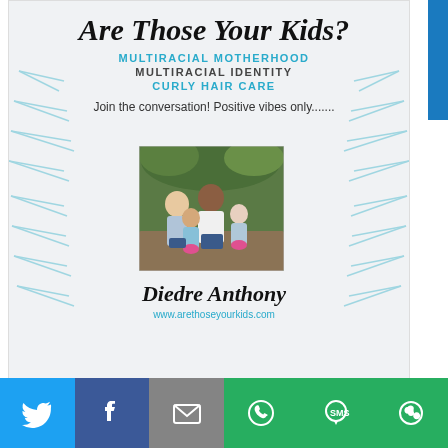Are Those Your Kids?
MULTIRACIAL MOTHERHOOD
MULTIRACIAL IDENTITY
CURLY HAIR CARE
Join the conversation! Positive vibes only.......
[Figure (photo): Family photo of Diedre Anthony with her children sitting outdoors]
Diedre Anthony
www.arethoseyourkids.com